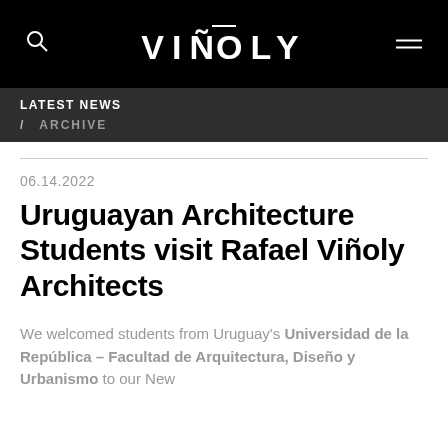VIÑOLY
LATEST NEWS / ARCHIVE
06.14.2022
Uruguayan Architecture Students visit Rafael Viñoly Architects
We welcomed students from Uruguay's Universidad de la República – Facultad de Arquitectura, Diseño y Urbanismo to our New